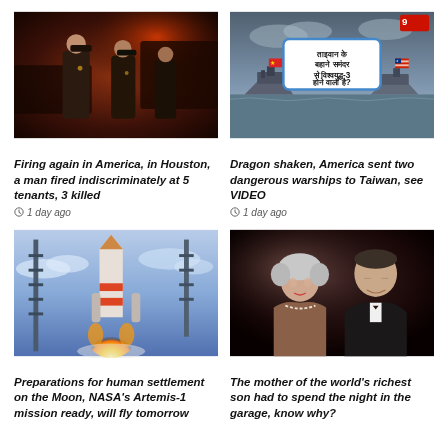[Figure (photo): Police officers in dark uniforms standing near vehicles at night with red lights]
Firing again in America, in Houston, a man fired indiscriminately at 5 tenants, 3 killed
1 day ago
[Figure (photo): News graphic showing warships on sea with Hindi text and TV9 logo — ताइवान के बहाने समंदर से विश्वयुद्ध-3 होने वाला है?]
Dragon shaken, America sent two dangerous warships to Taiwan, see VIDEO
1 day ago
[Figure (photo): NASA Artemis-1 rocket launching with tower structure against blue sky]
Preparations for human settlement on the Moon, NASA's Artemis-1 mission ready, will fly tomorrow
[Figure (photo): Elderly woman and Elon Musk in formal attire at an event]
The mother of the world's richest son had to spend the night in the garage, know why?